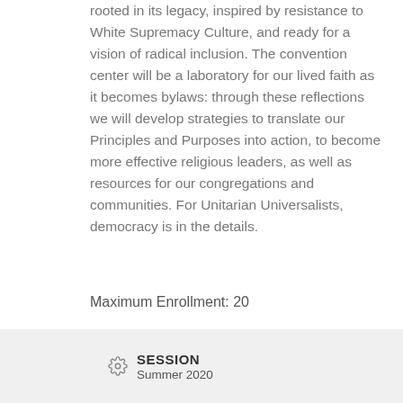rooted in its legacy, inspired by resistance to White Supremacy Culture, and ready for a vision of radical inclusion. The convention center will be a laboratory for our lived faith as it becomes bylaws: through these reflections we will develop strategies to translate our Principles and Purposes into action, to become more effective religious leaders, as well as resources for our congregations and communities. For Unitarian Universalists, democracy is in the details.
Maximum Enrollment: 20
« Previous
Next »
SESSION
Summer 2020